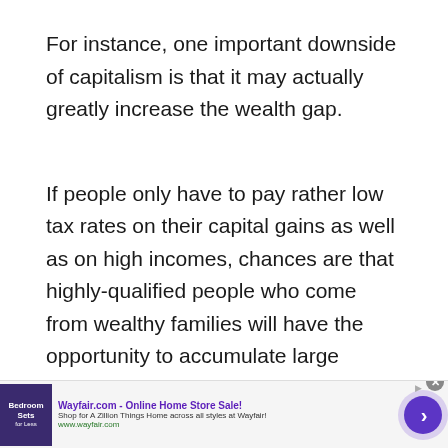For instance, one important downside of capitalism is that it may actually greatly increase the wealth gap.
If people only have to pay rather low tax rates on their capital gains as well as on high incomes, chances are that highly-qualified people who come from wealthy families will have the opportunity to accumulate large amounts of wealth.